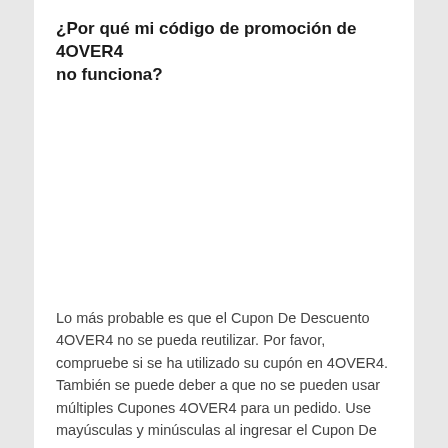¿Por qué mi código de promoción de 4OVER4 no funciona?
Lo más probable es que el Cupon De Descuento 4OVER4 no se pueda reutilizar. Por favor, compruebe si se ha utilizado su cupón en 4OVER4. También se puede deber a que no se pueden usar múltiples Cupones 4OVER4 para un pedido. Use mayúsculas y minúsculas al ingresar el Cupon De Descuento 4OVER4 .